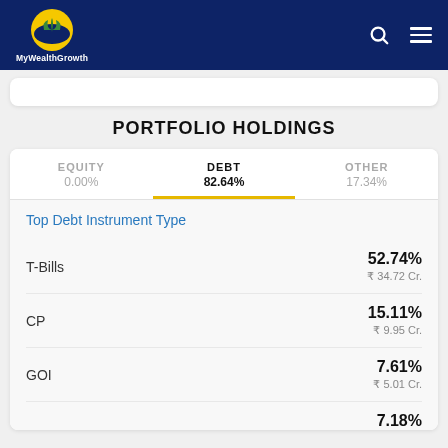MyWealthGrowth
PORTFOLIO HOLDINGS
| Tab | Percentage |
| --- | --- |
| EQUITY | 0.00% |
| DEBT | 82.64% |
| OTHER | 17.34% |
Top Debt Instrument Type
| Instrument | Percentage | Value |
| --- | --- | --- |
| T-Bills | 52.74% | ₹ 34.72 Cr. |
| CP | 15.11% | ₹ 9.95 Cr. |
| GOI | 7.61% | ₹ 5.01 Cr. |
| (partial) | 7.18% |  |